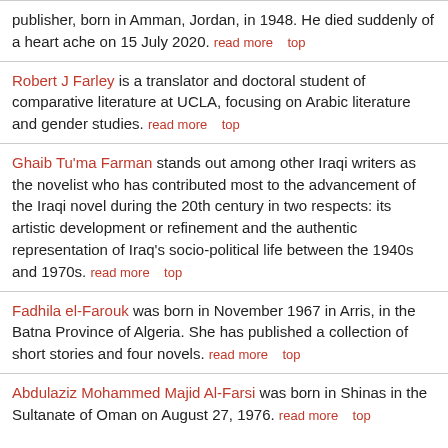publisher, born in Amman, Jordan, in 1948. He died suddenly of a heart ache on 15 July 2020. read more  top
Robert J Farley is a translator and doctoral student of comparative literature at UCLA, focusing on Arabic literature and gender studies. read more  top
Ghaib Tu'ma Farman stands out among other Iraqi writers as the novelist who has contributed most to the advancement of the Iraqi novel during the 20th century in two respects: its artistic development or refinement and the authentic representation of Iraq's socio-political life between the 1940s and 1970s. read more  top
Fadhila el-Farouk was born in November 1967 in Arris, in the Batna Province of Algeria. She has published a collection of short stories and four novels. read more  top
Abdulaziz Mohammed Majid Al-Farsi was born in Shinas in the Sultanate of Oman on August 27, 1976. read more  top